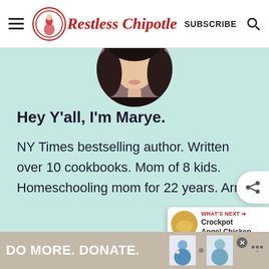Restless Chipotle — SUBSCRIBE
[Figure (photo): Circular cropped profile photo of a dark-haired woman, partially visible at top of teal content area]
Hey Y'all, I'm Marye.
NY Times bestselling author. Written over 10 cookbooks. Mom of 8 kids. Homeschooling mom for 22 years. Army
[Figure (infographic): What's Next overlay with thumbnail image and text: Crockpot Angel Chicken]
DO MORE. DONATE.